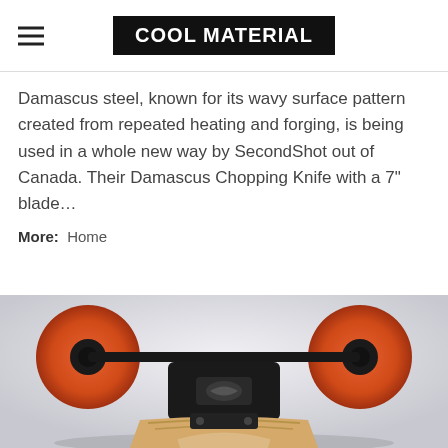COOL MATERIAL
Damascus steel, known for its wavy surface pattern created from repeated heating and forging, is being used in a whole new way by SecondShot out of Canada. Their Damascus Chopping Knife with a 7" blade…
More:  Home
[Figure (photo): Close-up rear view of a longboard/skateboard showing orange wheels on a black truck axle, with the wooden deck visible below, photographed against a light grey/white background.]